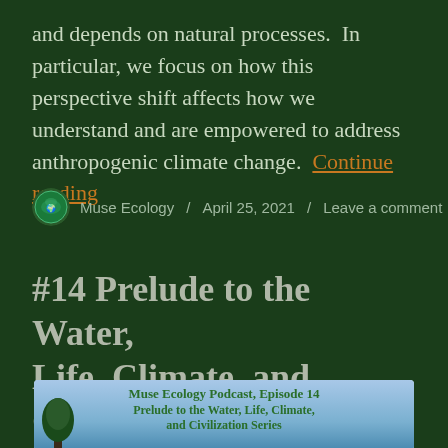and depends on natural processes. In particular, we focus on how this perspective shift affects how we understand and are empowered to address anthropogenic climate change. Continue reading
Muse Ecology / April 25, 2021 / Leave a comment
#14 Prelude to the Water, Life, Climate, and Civilization Series
[Figure (photo): Podcast episode image showing 'Muse Ecology Podcast, Episode 14 - Prelude to the Water, Life, Climate, and Civilization Series' with a sky/tree background]